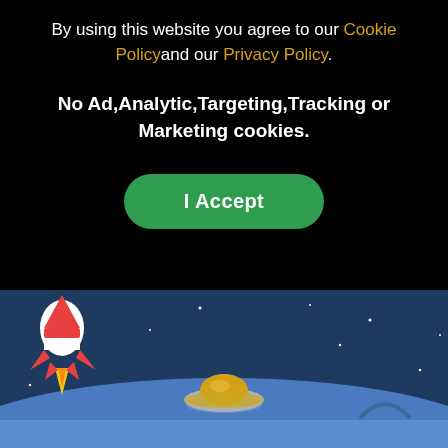By using this website you agree to our Cookie Policyand our Privacy Policy.
No Ad,Analytic,Targeting,Tracking or Marketing cookies.
[Figure (illustration): Green rounded rectangle button labeled 'I Accept']
[Figure (illustration): Colorful game-style scene with dark blue sky, blue ground, a rocket with flames on the left, a UFO/saucer in the center, a small arch shape on the right, and scattered white star dots.]